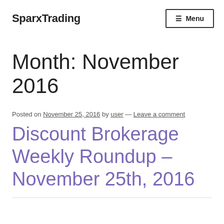SparxTrading
Month: November 2016
Posted on November 25, 2016 by user — Leave a comment
Discount Brokerage Weekly Roundup – November 25th, 2016